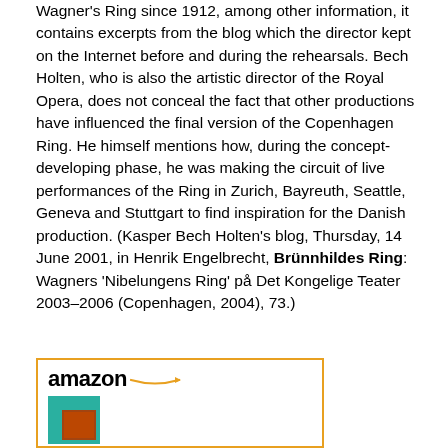Wagner's Ring since 1912, among other information, it contains excerpts from the blog which the director kept on the Internet before and during the rehearsals. Bech Holten, who is also the artistic director of the Royal Opera, does not conceal the fact that other productions have influenced the final version of the Copenhagen Ring. He himself mentions how, during the concept-developing phase, he was making the circuit of live performances of the Ring in Zurich, Bayreuth, Seattle, Geneva and Stuttgart to find inspiration for the Danish production. (Kasper Bech Holten's blog, Thursday, 14 June 2001, in Henrik Engelbrecht, Brünnhildes Ring: Wagners 'Nibelungens Ring' på Det Kongelige Teater 2003–2006 (Copenhagen, 2004), 73.)
[Figure (logo): Amazon logo with orange arrow and a product image showing a teal/green book cover with a reddish illustration]